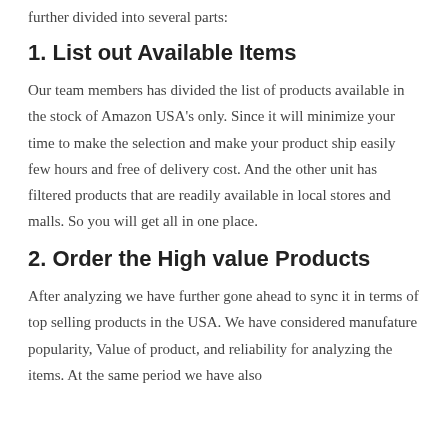further divided into several parts:
1. List out Available Items
Our team members has divided the list of products available in the stock of Amazon USA’s only. Since it will minimize your time to make the selection and make your product ship easily few hours and free of delivery cost. And the other unit has filtered products that are readily available in local stores and malls. So you will get all in one place.
2. Order the High value Products
After analyzing we have further gone ahead to sync it in terms of top selling products in the USA. We have considered manufature popularity, Value of product, and reliability for analyzing the items. At the same period we have also